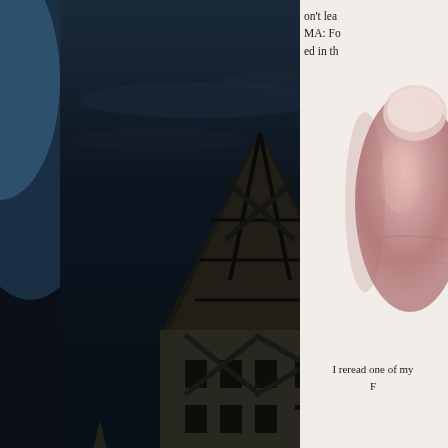[Figure (photo): Nighttime photo of German half-timbered buildings (Fachwerk) with dark sky. The buildings have pointed roofs and the central one shows decorative cross-timber patterns. Scene is very dark, near-night atmosphere.]
[Figure (photo): Close-up photo of a human finger or thumb, pinkish skin tone, on a light/white background. Partially visible on right side of page.]
on't lea
MA: Fo
ed in th
I reread one of my
F